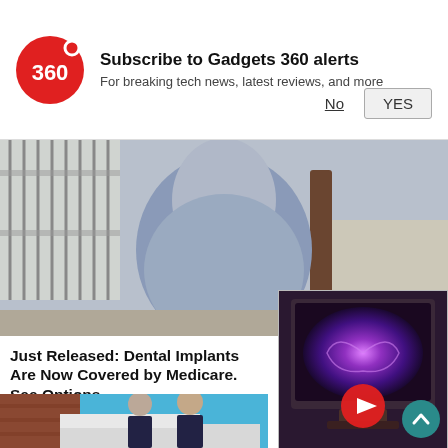Subscribe to Gadgets 360 alerts
For breaking tech news, latest reviews, and more
[Figure (photo): Woman in light blue/grey fitted t-shirt standing on a sidewalk near a fence and tree]
Just Released: Dental Implants Are Now Covered by Medicare. See Options
Dental Implants | Search Ads | Sponsored
[Figure (screenshot): Video thumbnail showing a TV with a galaxy/spiral nebula wallpaper on screen, with a red play button overlay]
[Figure (photo): Two men (older and younger) smiling in front of a van, with a brick wall and teal/blue background]